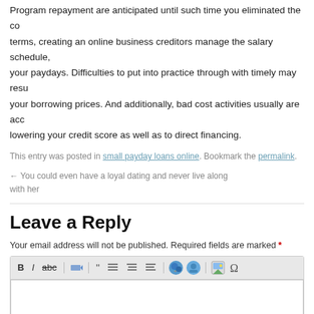Program repayment are anticipated until such time you eliminated the co terms, creating an online business creditors manage the salary schedule, your paydays. Difficulties to put into practice through with timely may resu your borrowing prices. And additionally, bad cost activities usually are acc lowering your credit score as well as to direct financing.
This entry was posted in small payday loans online. Bookmark the permalink.
← You could even have a loyal dating and never live along with her
Leave a Reply
Your email address will not be published. Required fields are marked *
[Figure (screenshot): Rich text editor toolbar with Bold, Italic, Strikethrough, Eraser, Quote, Align Left, Align Center, Align Right, image icon, and special character buttons, followed by an empty text input area.]